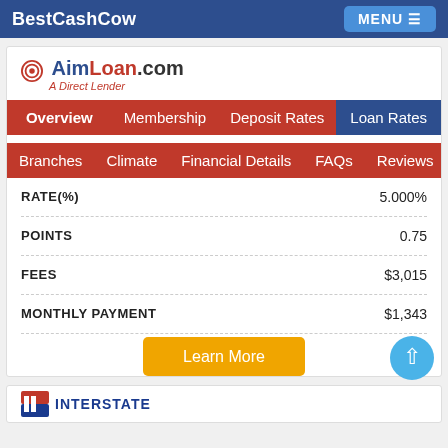BestCashCow  MENU
[Figure (logo): AimLoan.com logo with target icon and 'A Direct Lender' subtitle]
Overview  Membership  Deposit Rates  Loan Rates
Branches  Climate  Financial Details  FAQs  Reviews
| Field | Value |
| --- | --- |
| RATE(%) | 5.000% |
| POINTS | 0.75 |
| FEES | $3,015 |
| MONTHLY PAYMENT | $1,343 |
Learn More
[Figure (logo): Interstate bank logo partially visible at bottom]